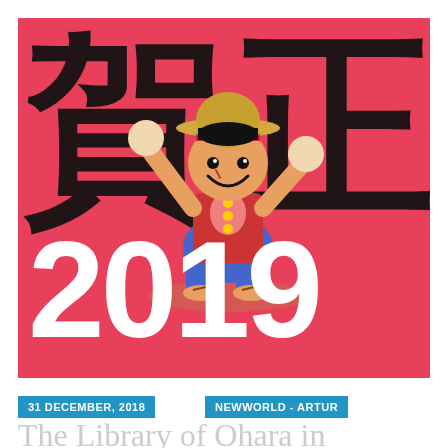[Figure (illustration): Anime illustration of Monkey D. Luffy from One Piece wearing a straw hat and red jacket, holding round objects in both raised hands, sitting on a pink/red background with large black Japanese kanji characters. Large white '2019' text overlaid at the bottom of the image.]
31 DECEMBER, 2018
NEWWORLD - ARTUR
The Library of Ohara in